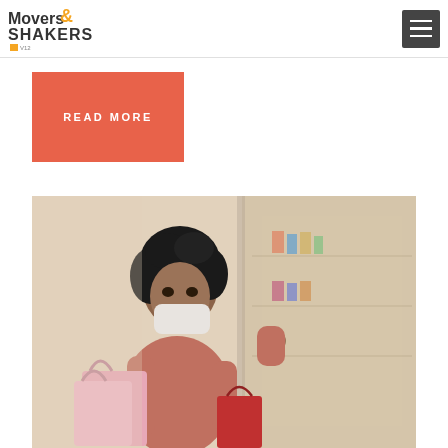Movers & Shakers by V12
READ MORE
[Figure (photo): Woman wearing a face mask carrying pink shopping bags in a retail store, looking at window display]